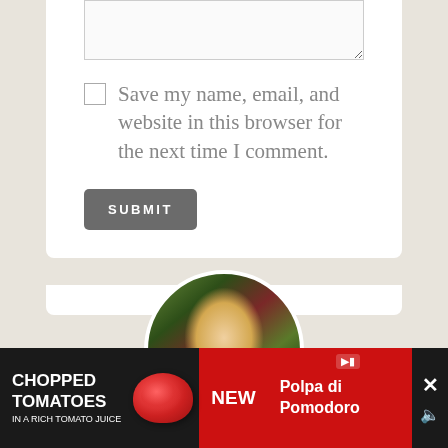[Figure (screenshot): A web comment form partial view showing a textarea input at the top, a checkbox with label 'Save my name, email, and website in this browser for the next time I comment.', and a SUBMIT button. Below the form is a circular profile photo of a blonde woman smiling outdoors among plants. At the bottom is an advertisement banner for 'CHOPPED TOMATOES - Polpa di Pomodoro - NEW' on a dark background.]